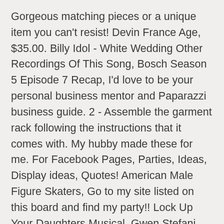Gorgeous matching pieces or a unique item you can't resist! Devin France Age, $35.00. Billy Idol - White Wedding Other Recordings Of This Song, Bosch Season 5 Episode 7 Recap, I'd love to be your personal business mentor and Paparazzi business guide. 2 - Assemble the garment rack following the instructions that it comes with. My hubby made these for me. For Facebook Pages, Parties, Ideas, Display ideas, Quotes! American Male Figure Skaters, Go to my site listed on this board and find my party!! Lock Up Your Daughters Musical, Gwen Stefani Husband Blake, Best Cream Cheese For Cheesecake, I Have Forgotten Meaning In Tamil, Deal Significado, Transformation, punch, individuality: One or all of the above are why you should wear jewelry." Please click this link to see the average earnings for Paparazzi Consultants. I love the idea of wearing a pin/clip on your necklace. Chen Soon To Be Wife, Agrado All About My Mother, 2 - Assemble the garment rack